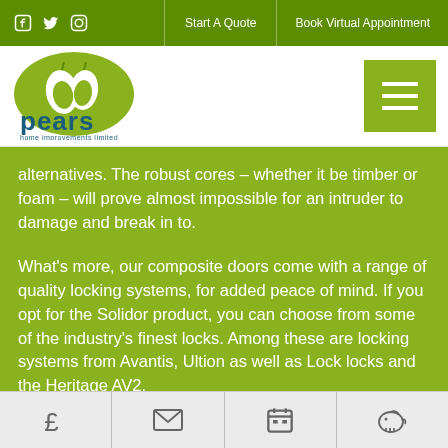Start A Quote | Book Virtual Appointment
[Figure (logo): Pears Home Improvements Limited logo - green oval with pear shapes and text 'pears home improvements limited']
alternatives. The robust cores – whether it be timber or foam – will prove almost impossible for an intruder to damage and break in to.
What's more, our composite doors come with a range of quality locking systems, for added peace of mind. If you opt for the Solidor product, you can choose from some of the industry's finest locks. Among these are locking systems from Avantis, Ultion as well as Lock locks and the Heritage AV2.
£ | envelope | calendar | piggy bank icons